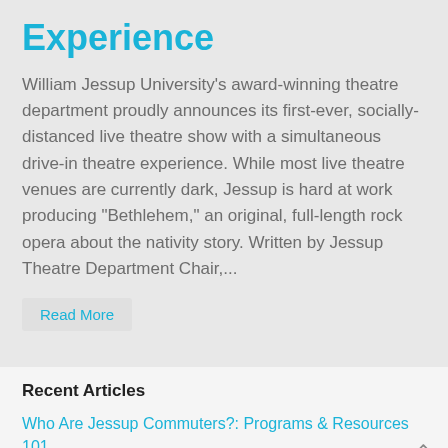Experience
William Jessup University's award-winning theatre department proudly announces its first-ever, socially-distanced live theatre show with a simultaneous drive-in theatre experience. While most live theatre venues are currently dark, Jessup is hard at work producing "Bethlehem," an original, full-length rock opera about the nativity story. Written by Jessup Theatre Department Chair,...
Read More
Recent Articles
Who Are Jessup Commuters?: Programs & Resources 101